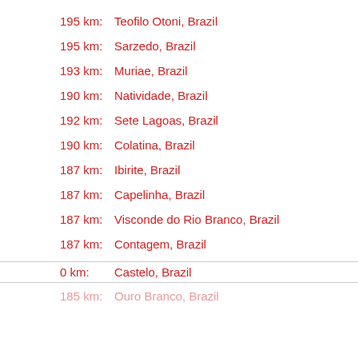195 km:   Teofilo Otoni, Brazil
195 km:   Sarzedo, Brazil
193 km:   Muriae, Brazil
190 km:   Natividade, Brazil
192 km:   Sete Lagoas, Brazil
190 km:   Colatina, Brazil
187 km:   Ibirite, Brazil
187 km:   Capelinha, Brazil
187 km:   Visconde do Rio Branco, Brazil
187 km:   Contagem, Brazil
0 km:   Castelo, Brazil
185 km:   Ouro Branco, Brazil